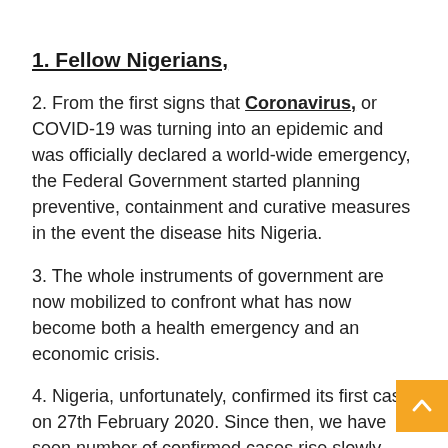1. Fellow Nigerians,
2. From the first signs that Coronavirus, or COVID-19 was turning into an epidemic and was officially declared a world-wide emergency, the Federal Government started planning preventive, containment and curative measures in the event the disease hits Nigeria.
3. The whole instruments of government are now mobilized to confront what has now become both a health emergency and an economic crisis.
4. Nigeria, unfortunately, confirmed its first case on 27th February 2020. Since then, we have seen number of confirmed cases rise slowly.